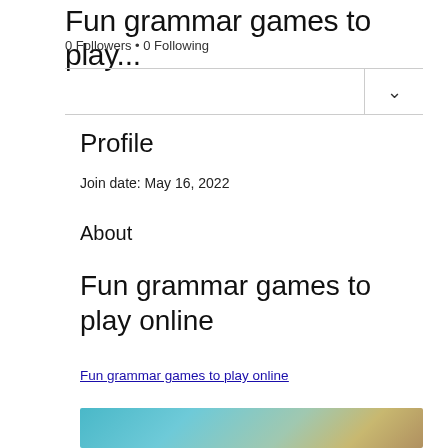Fun grammar games to play...
0 Followers • 0 Following
Profile
Join date: May 16, 2022
About
Fun grammar games to play online
Fun grammar games to play online
[Figure (photo): Blurred colorful image at bottom of page, partially visible]